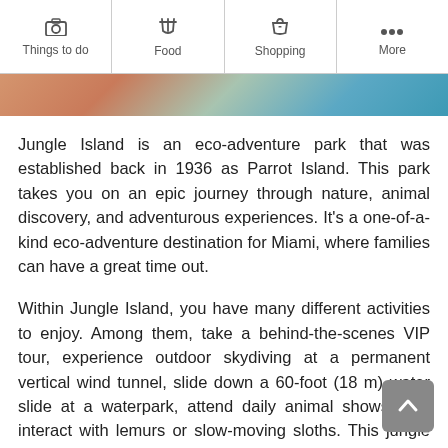Things to do | Food | Shopping | More
[Figure (photo): Partial view of a colorful photo strip showing what appears to be a person with animals in a tropical setting with blue and green tones.]
Jungle Island is an eco-adventure park that was established back in 1936 as Parrot Island. This park takes you on an epic journey through nature, animal discovery, and adventurous experiences. It's a one-of-a-kind eco-adventure destination for Miami, where families can have a great time out.
Within Jungle Island, you have many different activities to enjoy. Among them, take a behind-the-scenes VIP tour, experience outdoor skydiving at a permanent vertical wind tunnel, slide down a 60-foot (18 m) water slide at a waterpark, attend daily animal shows, and interact with lemurs or slow-moving sloths. This jungle island has an adventure for everyone.